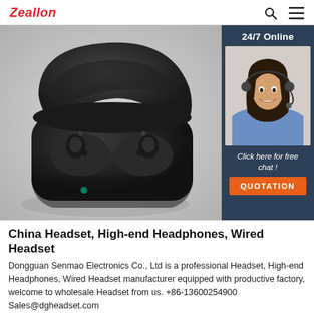Zeallon
[Figure (photo): Black TWS wireless earbuds in an open charging case, shown from above on a white background. The case has a teal LED indicator light on the front. On the right side is a dark blue panel with '24/7 Online' text, a photo of a smiling female customer service representative wearing a headset, text 'Click here for free chat!', and an orange button labeled 'QUOTATION'.]
China Headset, High-end Headphones, Wired Headset
Dongguan Senmao Electronics Co., Ltd is a professional Headset, High-end Headphones, Wired Headset manufacturer equipped with productive factory, welcome to wholesale Headset from us. +86-13600254900 Sales@dgheadset.com